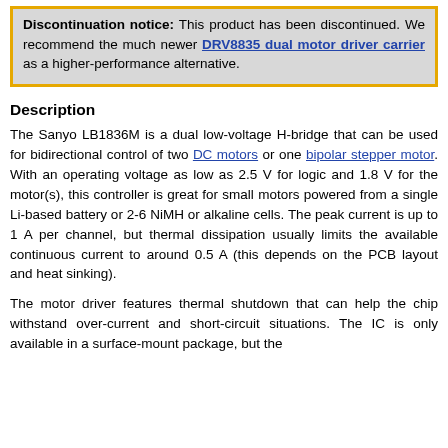Discontinuation notice: This product has been discontinued. We recommend the much newer DRV8835 dual motor driver carrier as a higher-performance alternative.
Description
The Sanyo LB1836M is a dual low-voltage H-bridge that can be used for bidirectional control of two DC motors or one bipolar stepper motor. With an operating voltage as low as 2.5 V for logic and 1.8 V for the motor(s), this controller is great for small motors powered from a single Li-based battery or 2-6 NiMH or alkaline cells. The peak current is up to 1 A per channel, but thermal dissipation usually limits the available continuous current to around 0.5 A (this depends on the PCB layout and heat sinking).
The motor driver features thermal shutdown that can help the chip withstand over-current and short-circuit situations. The IC is only available in a surface-mount package, but the